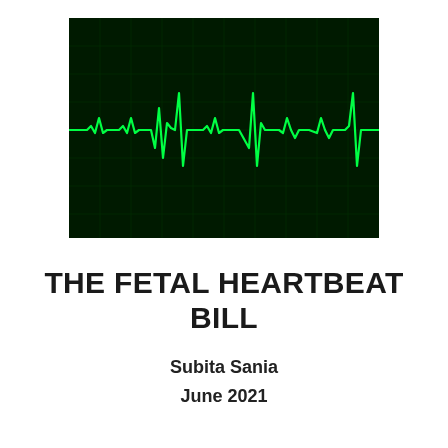[Figure (illustration): ECG/EKG heartbeat monitor trace — bright green line on dark green background with grid lines, showing characteristic heartbeat waveform pattern]
THE FETAL HEARTBEAT BILL
Subita Sania
June 2021